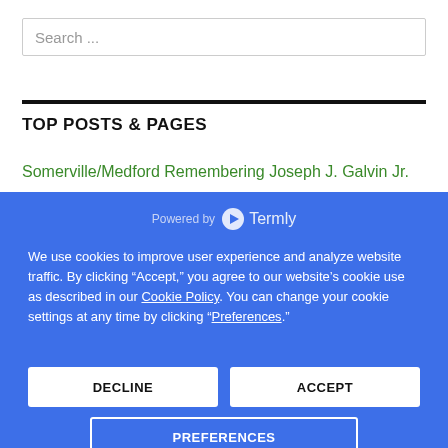Search ...
TOP POSTS & PAGES
Somerville/Medford Remembering Joseph J. Galvin Jr.
[Figure (screenshot): Cookie consent banner powered by Termly with Decline, Accept, and Preferences buttons on blue background]
We use cookies to improve user experience and analyze website traffic. By clicking “Accept,” you agree to our website’s cookie use as described in our Cookie Policy. You can change your cookie settings at any time by clicking “Preferences.”